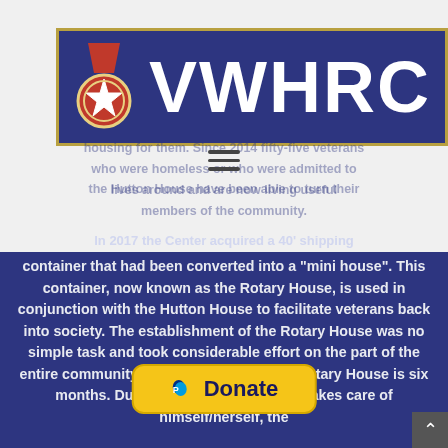[Figure (logo): VWHRC logo banner with dark blue background, gold border, medal icon on left, and VWHRC text in large white bold letters]
[Figure (other): Hamburger menu icon (three horizontal lines)]
[Figure (other): Yellow PayPal Donate button with PayPal icon]
housing for them. Since 2014 fifty-five veterans who were homeless or who were admitted to the Hutton House have been able to turn their lives around and are now living useful members of the community.
In 2017 the Center acquired a 40' shipping container that had been converted into a "mini house". This container, now known as the Rotary House, is used in conjunction with the Hutton House to facilitate veterans back into society. The establishment of the Rotary House was no simple task and took considerable effort on the part of the entire community. The typical stay in the Rotary House is six months. During this time the veteran takes care of himself/herself, the